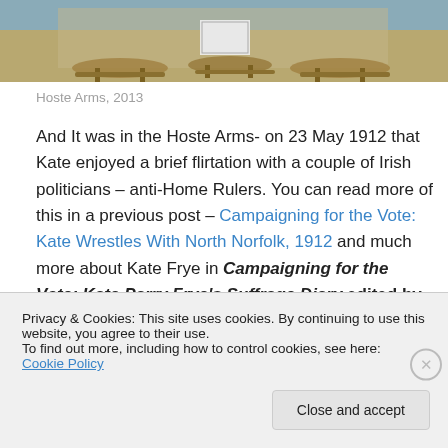[Figure (photo): Outdoor pub/restaurant scene showing wooden picnic tables and benches, Hoste Arms exterior, 2013]
Hoste Arms, 2013
And It was in the Hoste Arms- on 23 May 1912 that Kate enjoyed a brief flirtation with a couple of Irish politicians – anti-Home Rulers. You can read more of this in a previous post – Campaigning for the Vote: Kate Wrestles With North Norfolk, 1912 and much more about Kate Frye in Campaigning for the Vote: Kate Parry Frye's Suffrage Diary edited by Elizabeth Crawford. For a full
Privacy & Cookies: This site uses cookies. By continuing to use this website, you agree to their use.
To find out more, including how to control cookies, see here: Cookie Policy